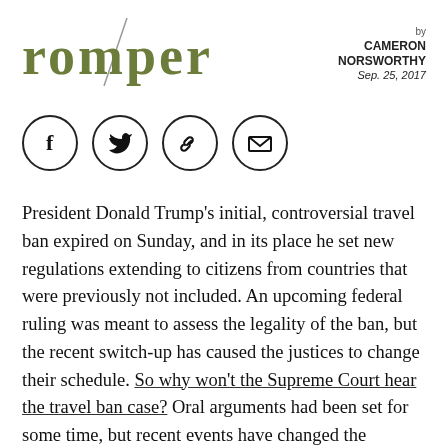[Figure (logo): Romper logo in olive/dark yellow-green text with a diagonal slash through the letter p]
by CAMERON NORSWORTHY
Sep. 25, 2017
[Figure (infographic): Four social share icons in circles: Facebook (f), Twitter (bird), link/chain, envelope/email]
President Donald Trump's initial, controversial travel ban expired on Sunday, and in its place he set new regulations extending to citizens from countries that were previously not included. An upcoming federal ruling was meant to assess the legality of the ban, but the recent switch-up has caused the justices to change their schedule. So why won't the Supreme Court hear the travel ban case? Oral arguments had been set for some time, but recent events have changed the